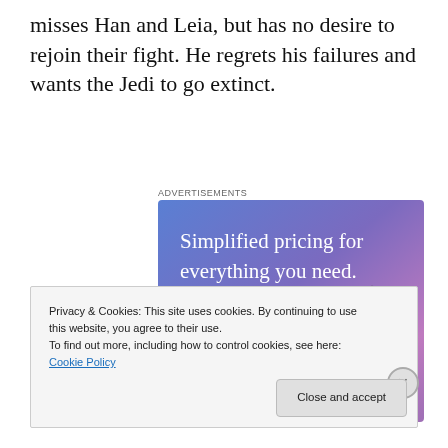misses Han and Leia, but has no desire to rejoin their fight. He regrets his failures and wants the Jedi to go extinct.
[Figure (screenshot): Advertisement banner with blue-purple gradient background showing text 'Simplified pricing for everything you need.' with a pink 'Build Your Website' button and a price tag graphic on the right.]
Privacy & Cookies: This site uses cookies. By continuing to use this website, you agree to their use.
To find out more, including how to control cookies, see here: Cookie Policy